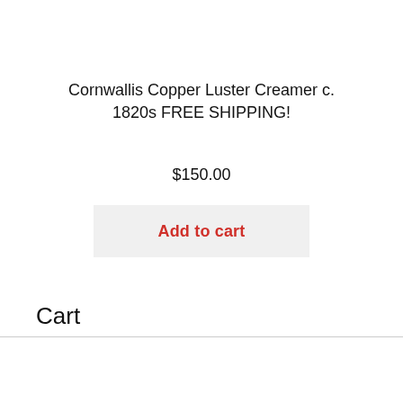Cornwallis Copper Luster Creamer c. 1820s FREE SHIPPING!
$150.00
Add to cart
Cart